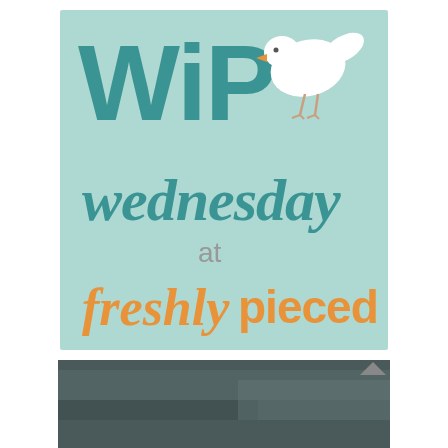[Figure (logo): WiP Wednesday at freshly pieced logo: light mint/aqua background square with large teal letters 'WiP', a small white bird illustration with orange beak, script text 'wednesday' in teal, smaller gray text 'at', and orange script/serif text 'freshly pieced']
[Figure (photo): Partial photo visible at the bottom of the page, appears to be a dark/moody photograph, partially cropped]